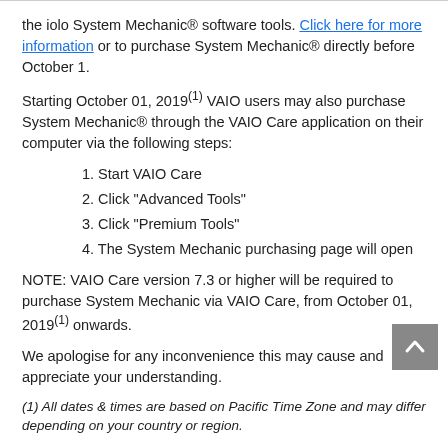the iolo System Mechanic® software tools. Click here for more information or to purchase System Mechanic® directly before October 1.
Starting October 01, 2019(1) VAIO users may also purchase System Mechanic® through the VAIO Care application on their computer via the following steps:
1. Start VAIO Care
2. Click "Advanced Tools"
3. Click "Premium Tools"
4. The System Mechanic purchasing page will open
NOTE: VAIO Care version 7.3 or higher will be required to purchase System Mechanic via VAIO Care, from October 01, 2019(1) onwards.
We apologise for any inconvenience this may cause and appreciate your understanding.
(1) All dates & times are based on Pacific Time Zone and may differ depending on your country or region.